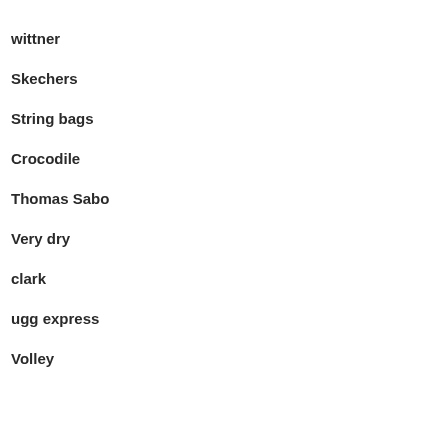wittner
Skechers
String bags
Crocodile
Thomas Sabo
Very dry
clark
ugg express
Volley